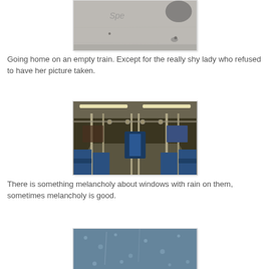[Figure (photo): Black and white photo of a wall with graffiti/writing, partially visible animal or bird in upper right corner]
Going home on an empty train. Except for the really shy lady who refused to have her picture taken.
[Figure (photo): Color photo of the interior of an empty train/subway car with blue seats, metal poles, and fluorescent lighting]
There is something melancholy about windows with rain on them, sometimes melancholy is good.
[Figure (photo): Photo of a rain-covered window with water droplets and blue-grey tones]